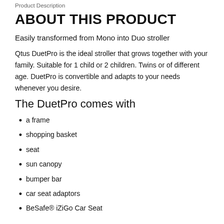Product Description
ABOUT THIS PRODUCT
Easily transformed from Mono into Duo stroller
Qtus DuetPro is the ideal stroller that grows together with your family. Suitable for 1 child or 2 children. Twins or of different age. DuetPro is convertible and adapts to your needs whenever you desire.
The DuetPro comes with
a frame
shopping basket
seat
sun canopy
bumper bar
car seat adaptors
BeSafe® iZiGo Car Seat